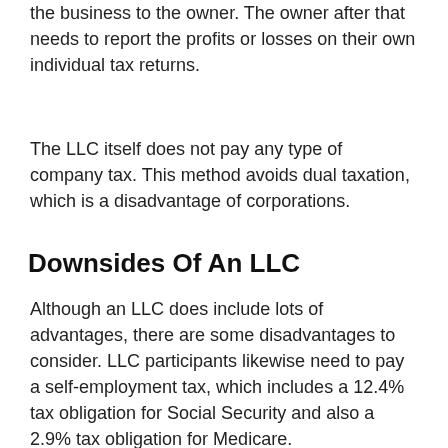the business to the owner. The owner after that needs to report the profits or losses on their own individual tax returns.
The LLC itself does not pay any type of company tax. This method avoids dual taxation, which is a disadvantage of corporations.
Downsides Of An LLC
Although an LLC does include lots of advantages, there are some disadvantages to consider. LLC participants likewise need to pay a self-employment tax, which includes a 12.4% tax obligation for Social Security and also a 2.9% tax obligation for Medicare.